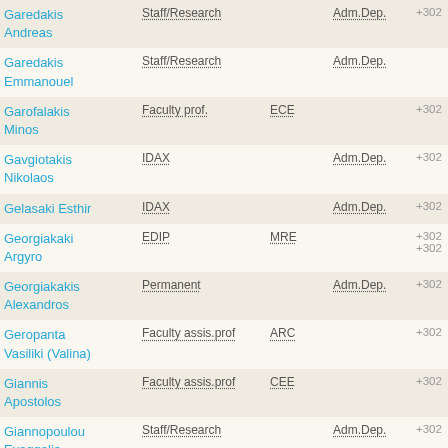| Name | Position | Dept | Adm. | Phone |
| --- | --- | --- | --- | --- |
| Garedakis Andreas | Staff/Research |  | Adm.Dep. | +302 |
| Garedakis Emmanouel | Staff/Research |  | Adm.Dep. |  |
| Garofalakis Minos | Faculty prof. | ECE |  | +302 |
| Gavgiotakis Nikolaos | IDAX |  | Adm.Dep. | +302 |
| Gelasaki Esthir | IDAX |  | Adm.Dep. | +302 |
| Georgiakaki Argyro | EDIP | MRE |  | +302
+302 |
| Georgiakakis Alexandros | Permanent |  | Adm.Dep. | +302 |
| Geropanta Vasiliki (Valina) | Faculty assis.prof | ARC |  | +302 |
| Giannis Apostolos | Faculty assis.prof | CEE |  | +302 |
| Giannopoulou Evaggelia | Staff/Research |  | Adm.Dep. | +302 |
| Gidarakos Evaggelos | Faculty emer. | CEE |  | +302 |